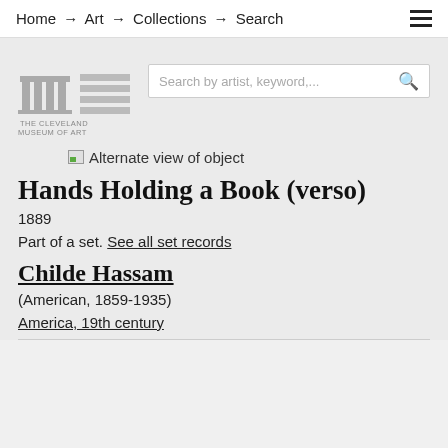Home → Art → Collections → Search
[Figure (logo): The Cleveland Museum of Art logo with stylized building icon and horizontal lines]
[Figure (screenshot): Search bar with placeholder text 'Search by artist, keyword,...' and search icon]
[Figure (photo): Alternate view of object (broken image placeholder)]
Hands Holding a Book (verso)
1889
Part of a set. See all set records
Childe Hassam
(American, 1859-1935)
America, 19th century